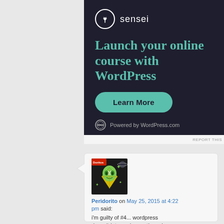[Figure (screenshot): Sensei advertisement banner on dark background: logo circle with tree icon and brand name 'sensei', headline 'Launch your online course with WordPress', teal 'Learn More' button, and 'Powered by WordPress.com' footer text.]
REPORT THIS
[Figure (photo): Avatar image of cartoon character Peridorito - a green alien/gem character from Steven Universe fan art style, with Doritos branding in the background.]
Peridorito on May 25, 2015 at 4:22 pm said:
i'm guilty of #4... wordpress doesn't let me change the color